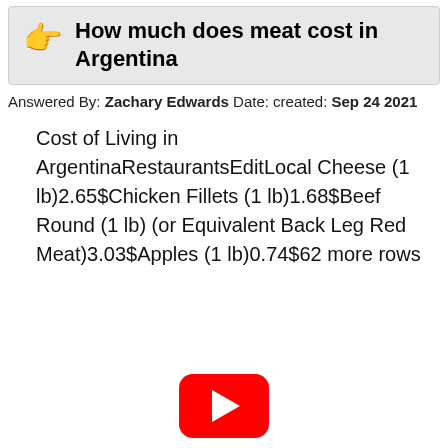How much does meat cost in Argentina
Answered By: Zachary Edwards Date: created: Sep 24 2021
Cost of Living in ArgentinaRestaurantsEditLocal Cheese (1 lb)2.65$Chicken Fillets (1 lb)1.68$Beef Round (1 lb) (or Equivalent Back Leg Red Meat)3.03$Apples (1 lb)0.74$62 more rows
[Figure (logo): YouTube play button logo in red]